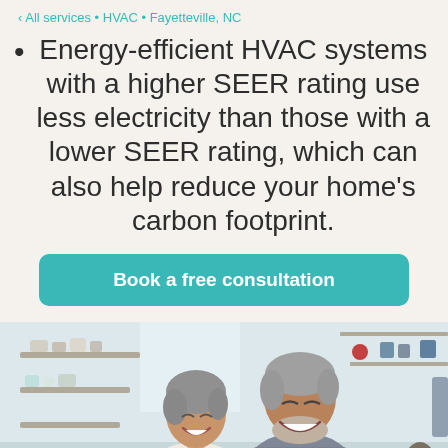< All services • HVAC • Fayetteville, NC
Energy-efficient HVAC systems with a higher SEER rating use less electricity than those with a lower SEER rating, which can also help reduce your home's carbon footprint.
Book a free consultation
[Figure (photo): An elderly Asian couple smiling and laughing together in a bright kitchen, wearing aprons, appearing happy and relaxed.]